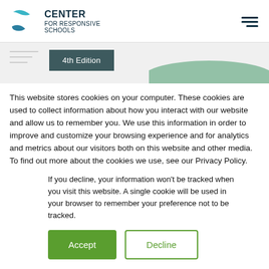Center for Responsive Schools
[Figure (illustration): Hero section partially visible showing '4th Edition' badge on dark teal background with decorative green shape on right and gray lines on left]
This website stores cookies on your computer. These cookies are used to collect information about how you interact with our website and allow us to remember you. We use this information in order to improve and customize your browsing experience and for analytics and metrics about our visitors both on this website and other media. To find out more about the cookies we use, see our Privacy Policy.
If you decline, your information won't be tracked when you visit this website. A single cookie will be used in your browser to remember your preference not to be tracked.
Accept   Decline